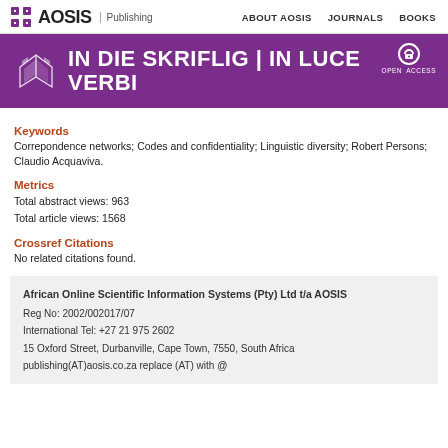AOSIS Publishing | ABOUT AOSIS | JOURNALS | BOOKS
[Figure (logo): Purple banner with journal title IN DIE SKRIFLIG | IN LUCE VERBI and Open Access badge]
Keywords
Correpondence networks; Codes and confidentiality; Linguistic diversity; Robert Persons; Claudio Acquaviva.
Metrics
Total abstract views: 963
Total article views: 1568
Crossref Citations
No related citations found.
African Online Scientific Information Systems (Pty) Ltd t/a AOSIS
Reg No: 2002/002017/07
International Tel: +27 21 975 2602
15 Oxford Street, Durbanville, Cape Town, 7550, South Africa
publishing(AT)aosis.co.za replace (AT) with @